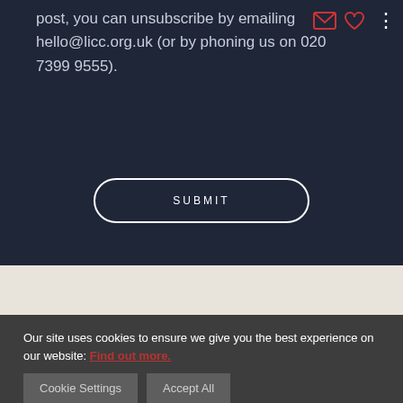post, you can unsubscribe by emailing hello@licc.org.uk (or by phoning us on 020 7399 9555).
SUBMIT
Our site uses cookies to ensure we give you the best experience on our website: Find out more.
Cookie Settings
Accept All